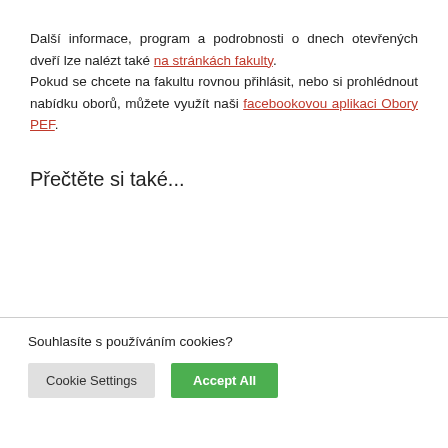Další informace, program a podrobnosti o dnech otevřených dveří lze nalézt také na stránkách fakulty. Pokud se chcete na fakultu rovnou přihlásit, nebo si prohlédnout nabídku oborů, můžete využít naši facebookovou aplikaci Obory PEF.
Přečtěte si také...
Souhlasíte s používáním cookies?